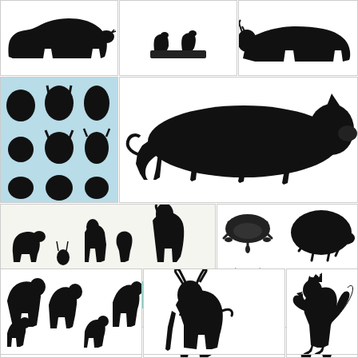[Figure (illustration): Black silhouette of a cow/bull facing left, side view]
[Figure (illustration): Small black silhouettes of two animals (cattle) on a block/platform]
[Figure (illustration): Black silhouette of a large animal (cow/bison) facing right]
[Figure (illustration): Collection of black illustrated animal heads including sheep, goat, cow, horse, pig arranged in a grid with light blue background]
[Figure (illustration): Large black silhouette of a pig facing left, side view]
[Figure (illustration): Black silhouettes of multiple farm animals including horses, cows, sheep, goat, rabbit, with text 'Vector set clip art instant download EPS, JPG, PNG']
[Figure (illustration): Black silhouettes of turtle, hippo (top), cat sitting, and sleeping hippo/pig (bottom)]
[Figure (illustration): Black silhouettes of cows in various sizes and poses]
[Figure (illustration): Black silhouette of a goat with horns facing right]
[Figure (illustration): Black silhouette of a rooster/cockerel facing left]
[Figure (illustration): Partial view of additional animal silhouette panels at bottom]
[Figure (illustration): Partial view of additional animal silhouette panels at bottom]